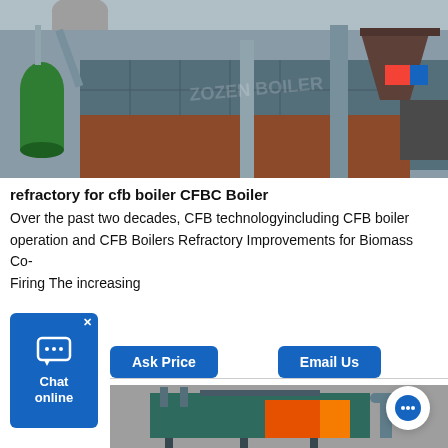[Figure (photo): Industrial CFB boiler equipment inside a factory building, showing large blue/teal boiler body with piping, structural columns, and hopper structures.]
refractory for cfb boiler CFBC Boiler
Over the past two decades, CFB technologyincluding CFB boiler operation and CFB Boilers Refractory Improvements for Biomass Co-Firing The increasing
[Figure (photo): Industrial boiler equipment, teal/green colored, photographed from outside, partial view at bottom of page.]